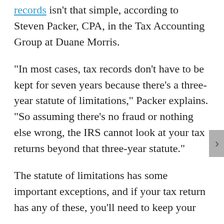records isn't that simple, according to Steven Packer, CPA, in the Tax Accounting Group at Duane Morris.
“In most cases, tax records don’t have to be kept for seven years because there’s a three-year statute of limitations,” Packer explains. “So assuming there’s no fraud or nothing else wrong, the IRS cannot look at your tax returns beyond that three-year statute.”
The statute of limitations has some important exceptions, and if your tax return has any of these, you’ll need to keep your